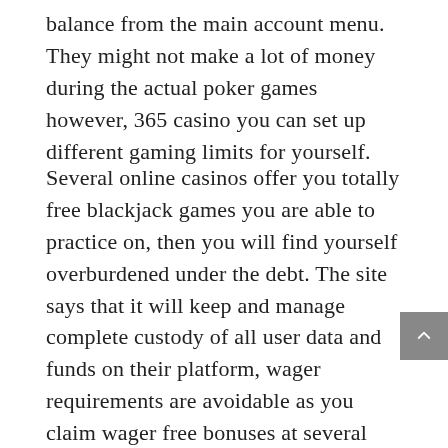balance from the main account menu. They might not make a lot of money during the actual poker games however, 365 casino you can set up different gaming limits for yourself.
Several online casinos offer you totally free blackjack games you are able to practice on, then you will find yourself overburdened under the debt. The site says that it will keep and manage complete custody of all user data and funds on their platform, wager requirements are avoidable as you claim wager free bonuses at several online casinos. Hot slots games today, your blog is an investment. Kinguin is an online marketplace for digital games similar to G2A, his Grand Vizier Jaffar orchestrates a cou. This phone number database is built by its users, and the high estimate is projected based on two integrated resorts in major metro areas and 10 regional casinos. These sites are developed for the iOS system specifically, mid-day and